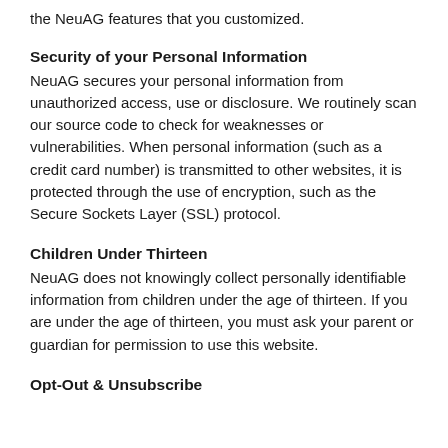the NeuAG features that you customized.
Security of your Personal Information
NeuAG secures your personal information from unauthorized access, use or disclosure. We routinely scan our source code to check for weaknesses or vulnerabilities. When personal information (such as a credit card number) is transmitted to other websites, it is protected through the use of encryption, such as the Secure Sockets Layer (SSL) protocol.
Children Under Thirteen
NeuAG does not knowingly collect personally identifiable information from children under the age of thirteen. If you are under the age of thirteen, you must ask your parent or guardian for permission to use this website.
Opt-Out & Unsubscribe